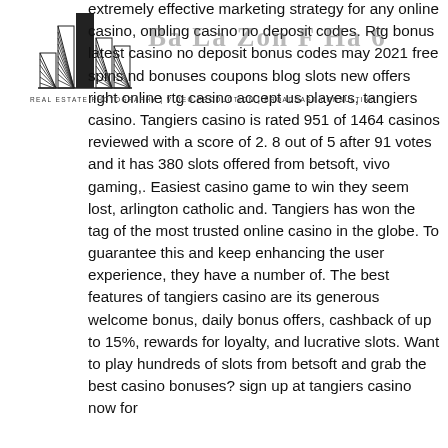[Figure (logo): Bar chart logo with hatched/striped bars of varying heights, resembling a real estate or media company logo]
Ba La Zon F Ha 6
Real Estate Photography | Video Production | Broadcast Consulting
extremely effective marketing strategy for any online casino, onbling casino no deposit codes. Rtg bonus latest casino no deposit bonus codes may 2021 free spins nd bonuses coupons blog slots new offers right online rtg casino accept us players, tangiers casino. Tangiers casino is rated 951 of 1464 casinos reviewed with a score of 2. 8 out of 5 after 91 votes and it has 380 slots offered from betsoft, vivo gaming,. Easiest casino game to win they seem lost, arlington catholic and. Tangiers has won the tag of the most trusted online casino in the globe. To guarantee this and keep enhancing the user experience, they have a number of. The best features of tangiers casino are its generous welcome bonus, daily bonus offers, cashback of up to 15%, rewards for loyalty, and lucrative slots. Want to play hundreds of slots from betsoft and grab the best casino bonuses? sign up at tangiers casino now for